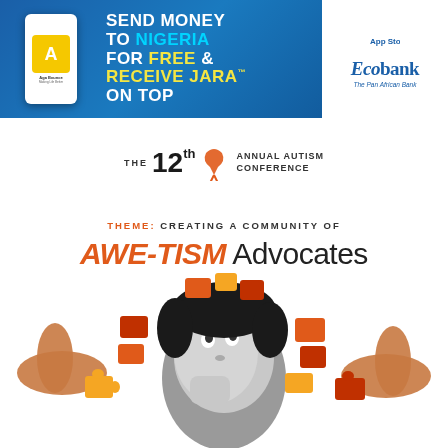[Figure (illustration): Ecobank advertisement banner: blue gradient background with a white smartphone showing a running figure logo and 'Aga Bounce' app text. Center text reads 'SEND MONEY TO NIGERIA FOR FREE & RECEIVE JARA ON TOP'. Right side shows white panel with Ecobank logo and 'The Pan African Bank' tagline.]
[Figure (logo): The 12th Annual Autism Conference logo with ribbon symbol]
THEME: CREATING A COMMUNITY OF AWE-TISM Advocates
[Figure (photo): A black and white photo of a child looking upward with their hand on their cheek, surrounded by colorful puzzle pieces in orange, red, and yellow. Hands from both sides hold puzzle pieces near the child's head, symbolizing autism advocacy.]